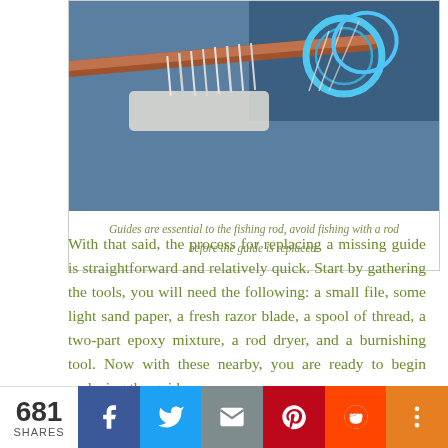[Figure (photo): Close-up photo of a fishing rod guide/ring with thread wrapping, showing the metal guide loop against a blue background]
Guides are essential to the fishing rod, avoid fishing with a rod before the guide is replaced.
With that said, the process for replacing a missing guide is straightforward and relatively quick. Start by gathering the tools, you will need the following: a small file, some light sand paper, a fresh razor blade, a spool of thread, a two-part epoxy mixture, a rod dryer, and a burnishing tool. Now with these nearby, you are ready to begin replacing the guide.
1. Guide Preparation